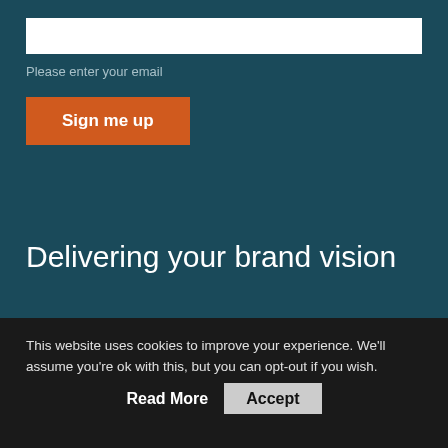[Figure (screenshot): Email input field (white rectangle) on dark teal background]
Please enter your email
Sign me up
Delivering your brand vision
This website uses cookies to improve your experience. We'll assume you're ok with this, but you can opt-out if you wish.
Read More
Accept